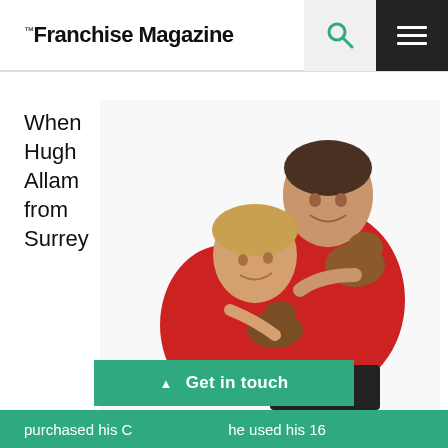Franchise Magazine
When Hugh Allam from Surrey
[Figure (photo): Two people in red polo shirts holding puppies (dachshund/mixed breed). A woman on the left smiles down at a puppy she is holding, and a man on the right holds two puppies against his chest. White background.]
Get in touch
purchased his C ... he used his 16